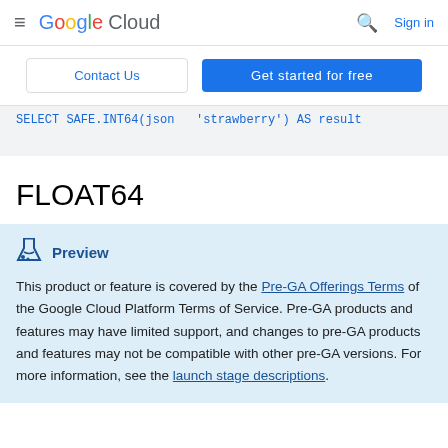Google Cloud  Sign in
Contact Us  Get started for free
SELECT SAFE.INT64(json 'strawberry') AS result
FLOAT64
Preview
This product or feature is covered by the Pre-GA Offerings Terms of the Google Cloud Platform Terms of Service. Pre-GA products and features may have limited support, and changes to pre-GA products and features may not be compatible with other pre-GA versions. For more information, see the launch stage descriptions.